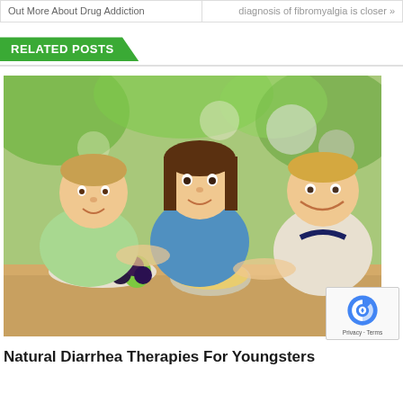Out More About Drug Addiction
diagnosis of fibromyalgia is closer »
RELATED POSTS
[Figure (photo): Three young children sitting at a table eating fruit salad and watermelon outdoors with green foliage background. Two boys and a girl, the girl in the center holding a fork over a bowl of fruit salad.]
Natural Diarrhea Therapies For Youngsters